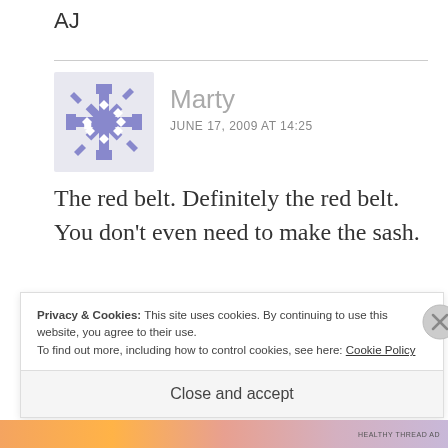AJ
Marty
JUNE 17, 2009 AT 14:25
The red belt. Definitely the red belt. You don't even need to make the sash.
Privacy & Cookies: This site uses cookies. By continuing to use this website, you agree to their use.
To find out more, including how to control cookies, see here: Cookie Policy
Close and accept